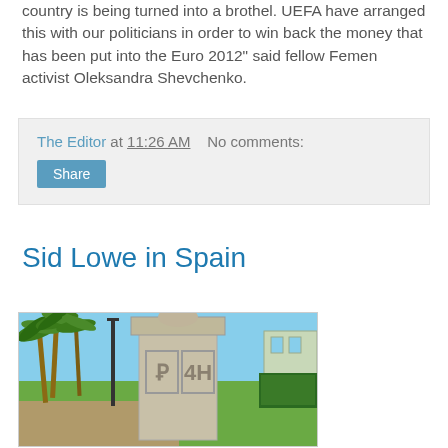country is being turned into a brothel. UEFA have arranged this with our politicians in order to win back the money that has been put into the Euro 2012" said fellow Femen activist Oleksandra Shevchenko.
The Editor at 11:26 AM   No comments:
Share
Sid Lowe in Spain
[Figure (photo): Outdoor photo showing a stone monument or pillar with carved emblems/shields, surrounded by tropical palm trees, green grass, and a building in the background under a blue sky.]